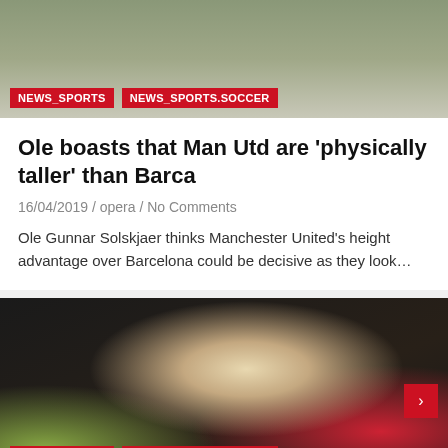[Figure (photo): Sports photo showing soccer/football players from Manchester United training, seen from behind, wearing red kit]
NEWS_SPORTS
NEWS_SPORTS.SOCCER
Ole boasts that Man Utd are 'physically taller' than Barca
16/04/2019 / opera / No Comments
Ole Gunnar Solskjaer thinks Manchester United's height advantage over Barcelona could be decisive as they look…
[Figure (photo): Ole Gunnar Solskjaer, Manchester United manager, clapping in a black and red jacket on the pitch]
NEWS_SPORTS
NEWS_SPORTS.SOCCER